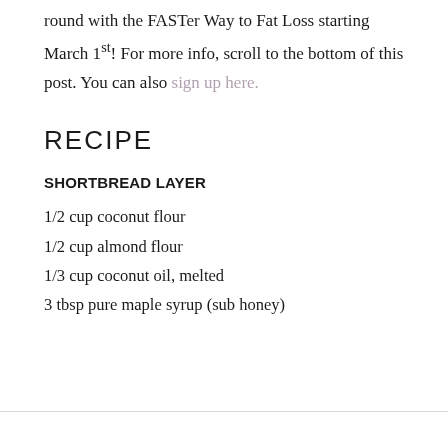round with the FASTer Way to Fat Loss starting March 1st! For more info, scroll to the bottom of this post. You can also sign up here.
RECIPE
SHORTBREAD LAYER
1/2 cup coconut flour
1/2 cup almond flour
1/3 cup coconut oil, melted
3 tbsp pure maple syrup (sub honey)